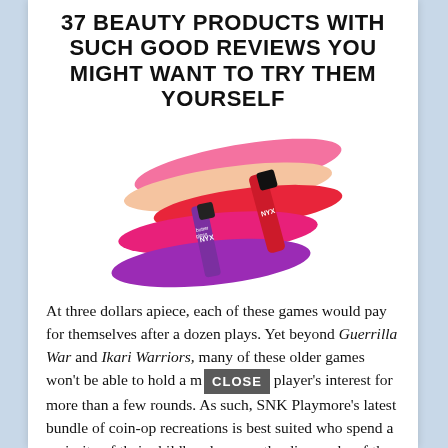37 BEAUTY PRODUCTS WITH SUCH GOOD REVIEWS YOU MIGHT WANT TO TRY THEM YOURSELF
[Figure (photo): Photo of NYX lip gloss products — several lip gloss tubes arranged with colorful swatches of pink, peach, red, magenta, and purple colors fanned out beneath them.]
At three dollars apiece, each of these games would pay for themselves after a dozen plays. Yet beyond Guerrilla War and Ikari Warriors, many of these older games won't be able to hold a m[CLOSE] player's interest for more than a few rounds. As such, SNK Playmore's latest bundle of coin-op recreations is best suited who spend a majority of their childhood among the dim nooks of the local